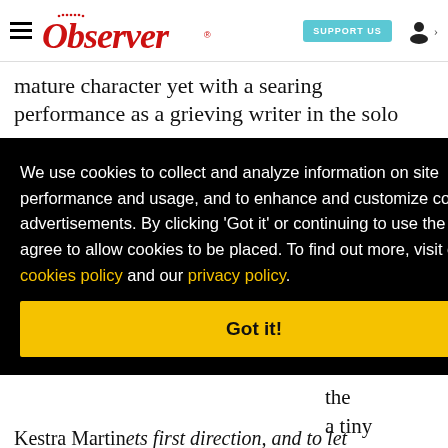Observer | SUPPORT US
mature character yet with a searing performance as a grieving writer in the solo
[Figure (screenshot): Cookie consent overlay on Observer website. Black background with white text: 'We use cookies to collect and analyze information on site performance and usage, and to enhance and customize content and advertisements. By clicking ‘Got it’ or continuing to use the site, you agree to allow cookies to be placed. To find out more, visit our cookies policy and our privacy policy.' Yellow 'Got it!' button below.]
solo, a ton lays, anta stmas se in the a tiny
Kestra Martinets first direction, and to let